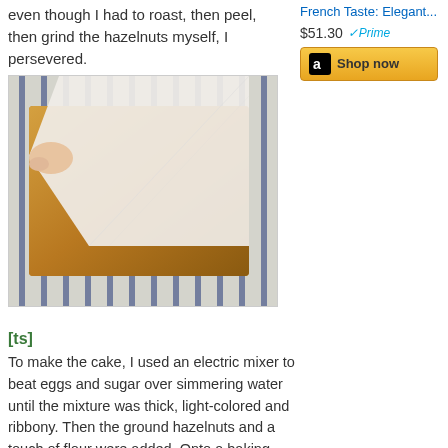even though I had to roast, then peel, then grind the hazelnuts myself, I persevered.
[Figure (photo): Photo of a baked hazelnut cake sheet being peeled off parchment paper on a striped kitchen towel]
French Taste: Elegant...
$51.30
Shop now
[ts]
To make the cake, I used an electric mixer to beat eggs and sugar over simmering water until the mixture was thick, light-colored and ribbony. Then the ground hazelnuts and a touch of flour were added. Onto a baking sheet the batter went, and into the oven. It only took about 10 minutes to bake.
Note: My baking sheet was larger than in the recipe, so it